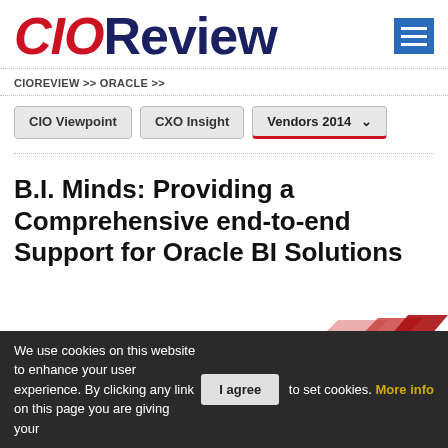CIOReview
CIOREVIEW >> ORACLE >>
CIO Viewpoint   CXO Insight   Vendors 2014
B.I. Minds: Providing a Comprehensive end-to-end Support for Oracle BI Solutions
[Figure (illustration): Decorative red/pink stepped bar graphic in lower right area]
We use cookies on this website to enhance your user experience. By clicking any link on this page you are giving your consent for us to set cookies. More info